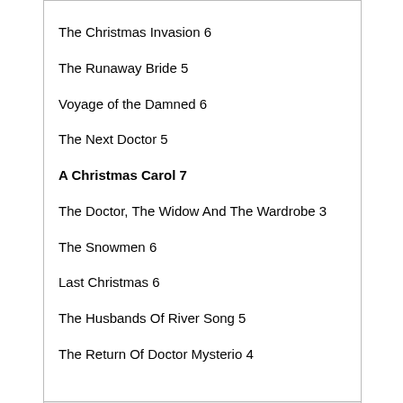The Christmas Invasion 6
The Runaway Bride 5
Voyage of the Damned 6
The Next Doctor 5
A Christmas Carol 7
The Doctor, The Widow And The Wardrobe 3
The Snowmen 6
Last Christmas 6
The Husbands Of River Song 5
The Return Of Doctor Mysterio 4
Reply With Quote
12th Dec 2020,   4:09 PM   #10
[Figure (photo): Avatar image of user Dirk Gently, showing a stylized figure with guitar and futuristic/cosmic elements on blue background]
Dirk Gently
HOLISTIC DETECTIVE
/ MEMBER
|  |  |
| --- | --- |
| Join Date: | Nov 2006 |
| Location: | Valhalla. |
| Posts: | 15,883 |